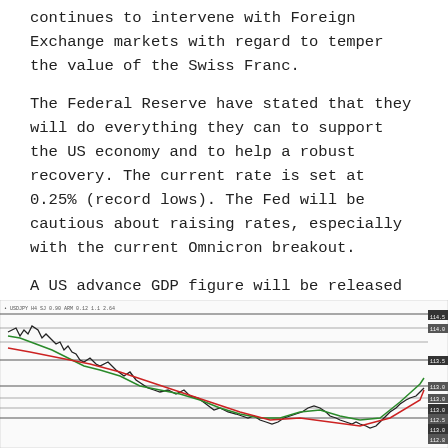continues to intervene with Foreign Exchange markets with regard to temper the value of the Swiss Franc.
The Federal Reserve have stated that they will do everything they can to support the US economy and to help a robust recovery. The current rate is set at 0.25% (record lows). The Fed will be cautious about raising rates, especially with the current Omnicron breakout.
A US advance GDP figure will be released at 1330 UTC today.
USDJPY
[Figure (continuous-plot): USDJPY candlestick/line chart showing price action with moving averages (red and green curves), multiple horizontal support/resistance levels marked, price declining then recovering toward right edge. Price range approximately 113.00 to 114.50+.]